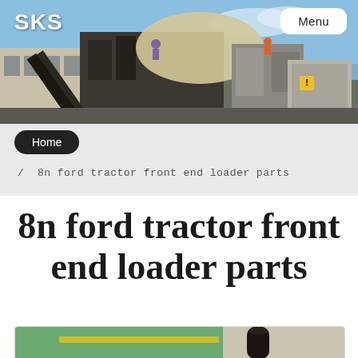[Figure (photo): Industrial machinery/quarry equipment at a processing site, with conveyors, silos, and workers visible against a partly cloudy sky]
SKS
Menu
Home
/ 8n ford tractor front end loader parts
8n ford tractor front end loader parts
[Figure (photo): Partial view of a parking lot or yard with green painted ground markings and a black bollard visible]